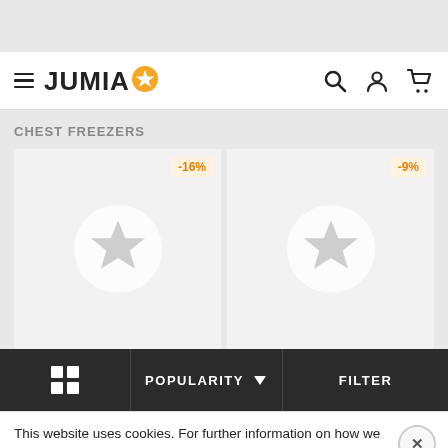[Figure (screenshot): Top gray decorative bar of Jumia website]
JUMIA [star logo] — navigation with search, account, and cart icons
CHEST FREEZERS
[Figure (other): Product card 1 with -16% discount badge and Jumia star placeholder image]
[Figure (other): Product card 2 with -9% discount badge and Jumia star placeholder image]
POPULARITY  ∨    FILTER
This website uses cookies. For further information on how we use cookies you can read our Privacy and Cookie notice